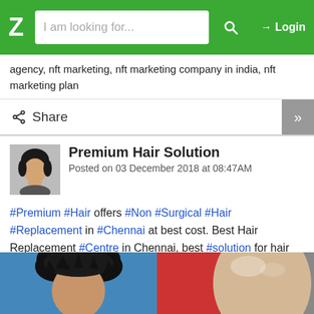Z  I am looking for...  Login
agency, nft marketing, nft marketing company in india, nft marketing plan
Share
Premium Hair Solution
Posted on 03 December 2018 at 08:47AM
#Premium #Hair offers #Non #Surgical #Hair #Replacement in #Chennai at best cost. Best Hair Replacement #Centre in Chennai, best #solution for hair #loss in chennai
https://premiumhairsolution.com/hair-replacement-chennai.html
[Figure (photo): Two side-by-side photos: left shows a man with full dark hair, right shows a bald head closeup]